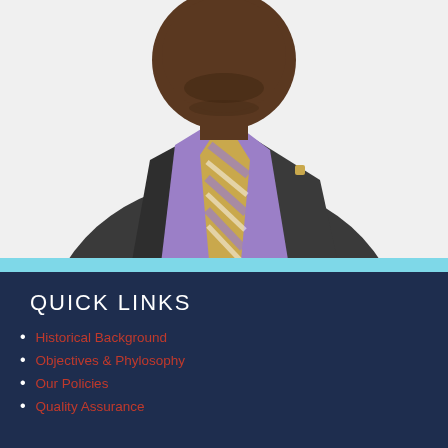[Figure (photo): Portrait photo of a man in a dark grey suit with a purple shirt and striped purple and gold tie, wearing a lapel pin, photographed from chest up against a white background.]
QUICK LINKS
Historical Background
Objectives & Phylosophy
Our Policies
Quality Assurance